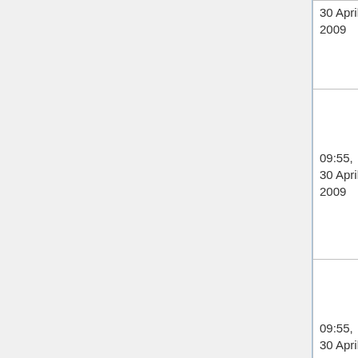| Date | File | Image |
| --- | --- | --- |
| 09:55, 30 April 2009 | Modern icon razz.gif (file) | [emoji image] |
| 09:55, 30 April 2009 | Modern icon confused.gif (file) | [emoji image] |